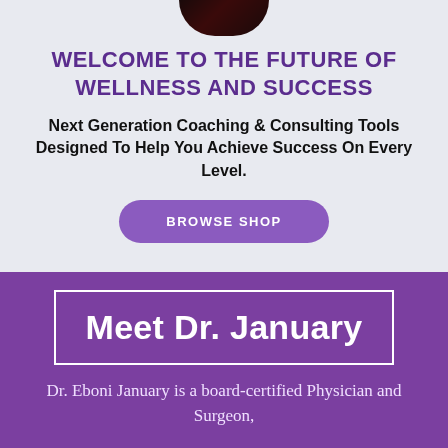[Figure (photo): Partial photo of Dr. January at the top of the page, cropped]
WELCOME TO THE FUTURE OF WELLNESS AND SUCCESS
Next Generation Coaching & Consulting Tools Designed To Help You Achieve Success On Every Level.
BROWSE SHOP
Meet Dr. January
Dr. Eboni January is a board-certified Physician and Surgeon,